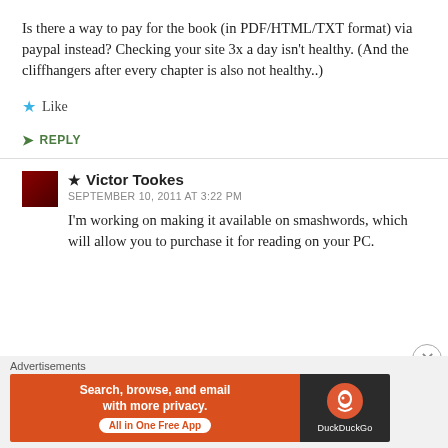Is there a way to pay for the book (in PDF/HTML/TXT format) via paypal instead? Checking your site 3x a day isn't healthy. (And the cliffhangers after every chapter is also not healthy..)
★ Like
➤ REPLY
★ Victor Tookes
SEPTEMBER 10, 2011 AT 3:22 PM
I'm working on making it available on smashwords, which will allow you to purchase it for reading on your PC.
Advertisements
[Figure (infographic): DuckDuckGo advertisement banner: orange left section with text 'Search, browse, and email with more privacy. All in One Free App', dark right section with DuckDuckGo logo and name.]